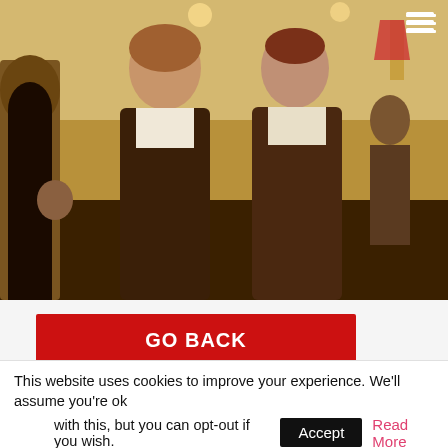[Figure (photo): Two female restaurant waitresses in brown vests and white shirts standing in a restaurant interior, facing the camera. Background shows restaurant decor with arched doorway, warm lighting, other patrons and staff visible.]
GO BACK
Home » Waiter & Waitress »
This website uses cookies to improve your experience. We'll assume you're ok with this, but you can opt-out if you wish. Accept Read More